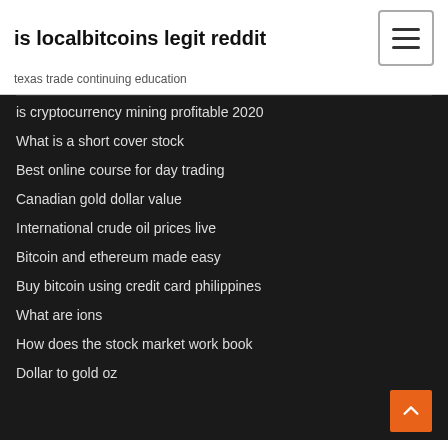is localbitcoins legit reddit
texas trade continuing education
is cryptocurrency mining profitable 2020
What is a short cover stock
Best online course for day trading
Canadian gold dollar value
International crude oil prices live
Bitcoin and ethereum made easy
Buy bitcoin using credit card philippines
What are ions
How does the stock market work book
Dollar to gold oz